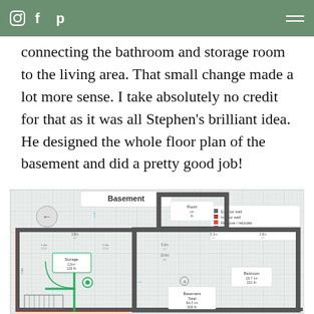Instagram, Facebook, Pinterest social icons and hamburger menu on green background
connecting the bathroom and storage room to the living area. That small change made a lot more sense. I take absolutely no credit for that as it was all Stephen's brilliant idea. He designed the whole floor plan of the basement and did a pretty good job!
[Figure (engineering-diagram): Basement floor plan diagram showing room layout with labeled rooms, dimensions, green and red highlighted walls, legend showing exterior wall, interior wall, remove/relocate, add/new partition. A back arrow navigation button is visible. Dimensions shown throughout.]